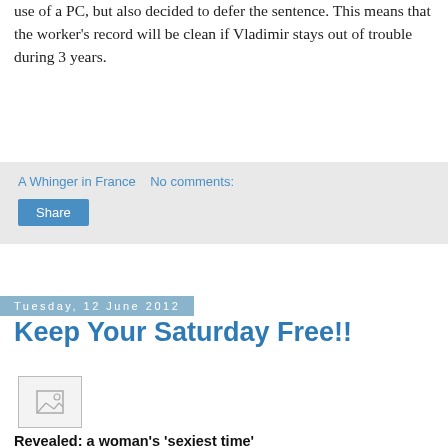use of a PC, but also decided to defer the sentence. This means that the worker's record will be clean if Vladimir stays out of trouble during 3 years.
A Whinger in France    No comments:
Share
Tuesday, 12 June 2012
Keep Your Saturday Free!!
[Figure (photo): Broken/placeholder image thumbnail]
Revealed: a woman's 'sexiest time'
The time a woman is most likely to want to engage in sexual activity has been uncovered by new research.
A survey has concluded that around 11pm on a Saturday night is the most common time for a woman to feel amorous. However, for many, having sex in the bedroom is not on the agenda.
Forty per cent of of the 1,000 women questioned in the